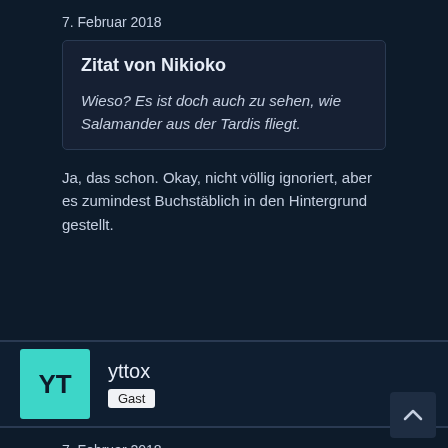7. Februar 2018
Zitat von Nikioko

Wieso? Es ist doch auch zu sehen, wie Salamander aus der Tardis fliegt.
Ja, das schon. Okay, nicht völlig ignoriert, aber es zumindest Buchstäblich in den Hintergrund gestellt.
yttox
Gast
7. Februar 2018
Und wo bleibt eigentlich die Spoiler-Polizei, die bemängelt, dass man am Cover schon sehen kann, wie die Folge endet? 😉